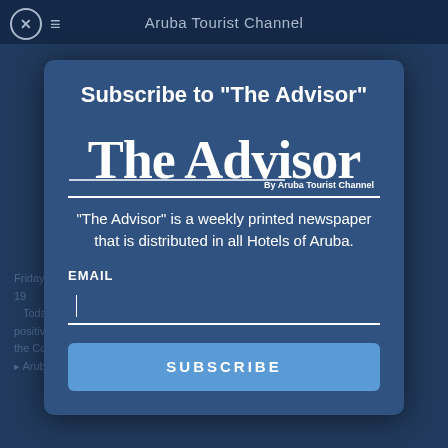Aruba Tourist Channel
Subscribe to "The Advisor"
[Figure (logo): The Advisor newspaper masthead logo in blackletter/gothic font with 'By Aruba Tourist Channel' subtitle]
"The Advisor" is a weekly printed newspaper that is distributed in all Hotels of Aruba.
EMAIL
SUBSCRIBE